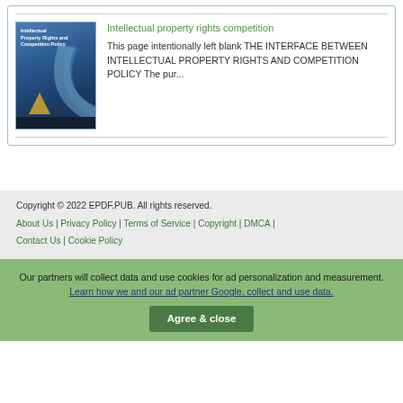[Figure (illustration): Book cover for 'Intellectual Property Rights and Competition Policy' with blue gradient background and arc design]
Intellectual property rights competition
This page intentionally left blank THE INTERFACE BETWEEN INTELLECTUAL PROPERTY RIGHTS AND COMPETITION POLICY The pur...
Copyright © 2022 EPDF.PUB. All rights reserved. About Us | Privacy Policy | Terms of Service | Copyright | DMCA | Contact Us | Cookie Policy
Our partners will collect data and use cookies for ad personalization and measurement. Learn how we and our ad partner Google, collect and use data. Agree & close